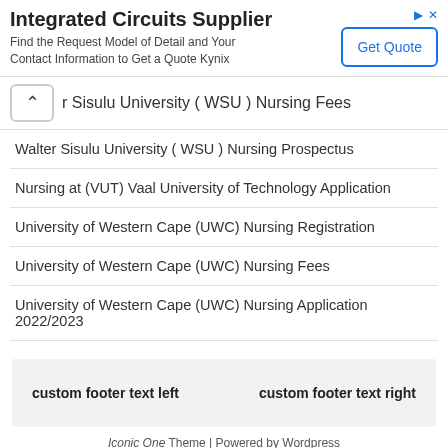[Figure (other): Advertisement banner for Integrated Circuits Supplier with 'Get Quote' button]
r Sisulu University ( WSU ) Nursing Fees
Walter Sisulu University ( WSU ) Nursing Prospectus
Nursing at (VUT) Vaal University of Technology Application
University of Western Cape (UWC) Nursing Registration
University of Western Cape (UWC) Nursing Fees
University of Western Cape (UWC) Nursing Application 2022/2023
custom footer text left    custom footer text right
Iconic One Theme | Powered by Wordpress